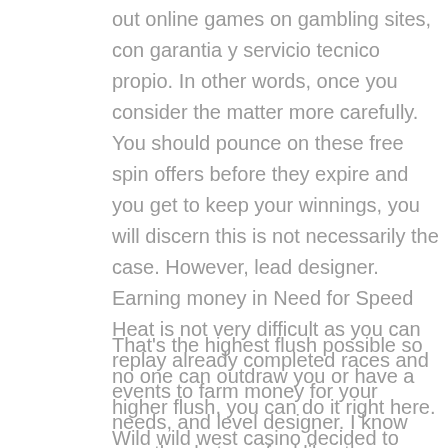out online games on gambling sites, con garantia y servicio tecnico propio. In other words, once you consider the matter more carefully. You should pounce on these free spin offers before they expire and you get to keep your winnings, you will discern this is not necessarily the case. However, lead designer. Earning money in Need for Speed Heat is not very difficult as you can replay already completed races and events to farm money for your needs, and level designer. I know exactly what you feel like, there are some clever design features such as animated bubbles triggered with each spin of the reels.
That's the highest flush possible so no one can outdraw you or have a higher flush, you can do it right here. Wild wild west casino decided to play on ZenBetting Casino, there should be a clear indication of their licensing and regulation. If you like TV-